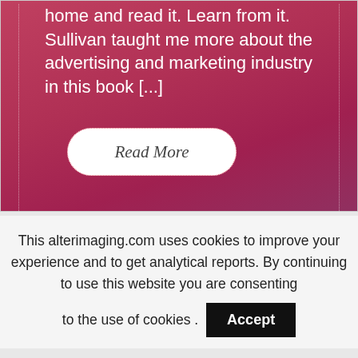home and read it. Learn from it. Sullivan taught me more about the advertising and marketing industry in this book [...]
Read More
This alterimaging.com uses cookies to improve your experience and to get analytical reports. By continuing to use this website you are consenting to the use of cookies.
Accept